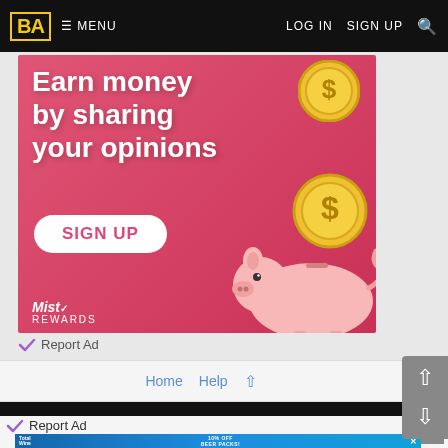BA  ≡ MENU    LOG IN   SIGN UP  🔍
[Figure (illustration): Pink advertisement banner: 'Earn money by sharing your opinions' with SIGN UP button and MistRewards logo with piggy bank and gold coins]
Report Ad
Home   Help   ↑
Report Ad
[Figure (screenshot): Total Wine advertisement banner: 10% OFF BEER PACKS with pool/summer theme]